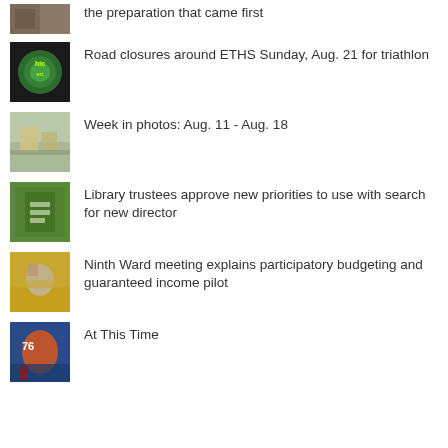the preparation that came first
Road closures around ETHS Sunday, Aug. 21 for triathlon
Week in photos: Aug. 11 - Aug. 18
Library trustees approve new priorities to use with search for new director
Ninth Ward meeting explains participatory budgeting and guaranteed income pilot
At This Time